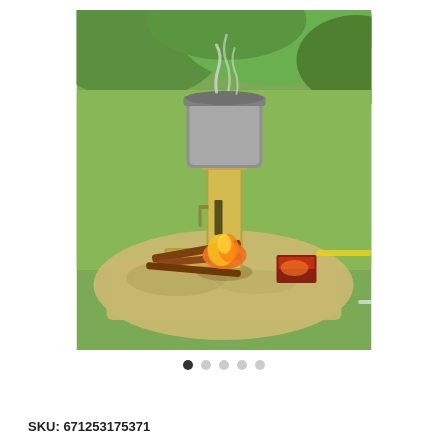[Figure (photo): A rocket stove or biomass gasifier stove made of stainless steel with a pot on top producing steam/smoke, placed on a flat stone or board with firewood burning at the base, set on a grassy outdoor background. A fire-starter box is visible to the right.]
● ○ ○ ○ ○
SKU: 671253175371